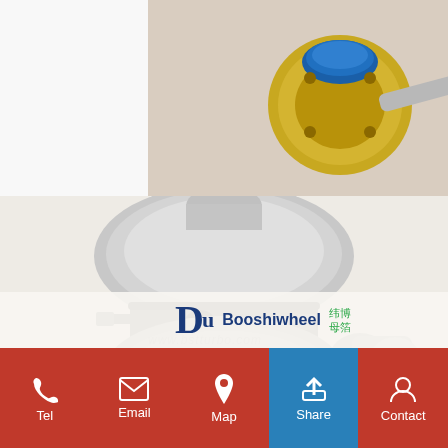[Figure (photo): Top-down view of a turbocharger actuator/wastegate assembly with blue actuator and gold/brass colored fittings on beige background]
[Figure (photo): Side view of a large turbocharger unit (silver/chrome), with Booshiwheel branding watermark. Shows compressor housing with inlet/outlet pipes. www.bstturbo.com watermark visible.]
Booshiwheel 纬博 母箔
Tel  Email  Map  Share  Contact